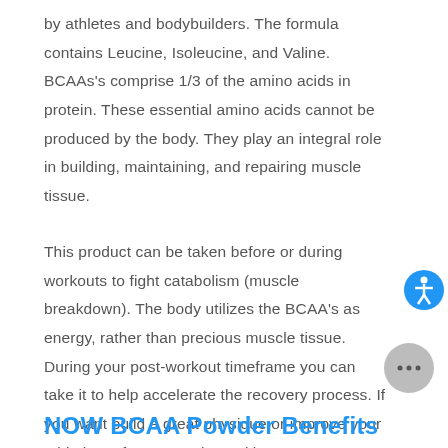by athletes and bodybuilders. The formula contains Leucine, Isoleucine, and Valine. BCAAs's comprise 1/3 of the amino acids in protein. These essential amino acids cannot be produced by the body. They play an integral role in building, maintaining, and repairing muscle tissue.
This product can be taken before or during workouts to fight catabolism (muscle breakdown). The body utilizes the BCAA's as energy, rather than precious muscle tissue. During your post-workout timeframe you can take it to help accelerate the recovery process. If you want build a great physique or improve your athletic performance, then taking NOW BCAA's can help you achieve your goals.
NOW BCAA Powder Benefits